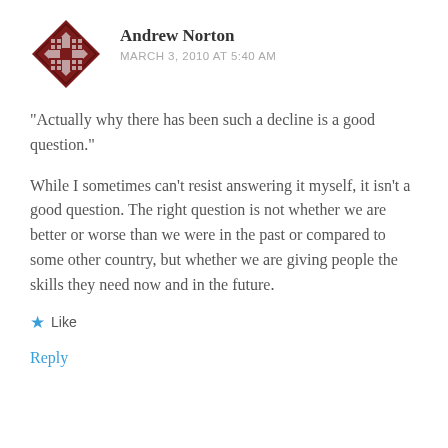Andrew Norton
MARCH 3, 2010 AT 5:40 AM
"Actually why there has been such a decline is a good question."
While I sometimes can't resist answering it myself, it isn't a good question. The right question is not whether we are better or worse than we were in the past or compared to some other country, but whether we are giving people the skills they need now and in the future.
★ Like
Reply